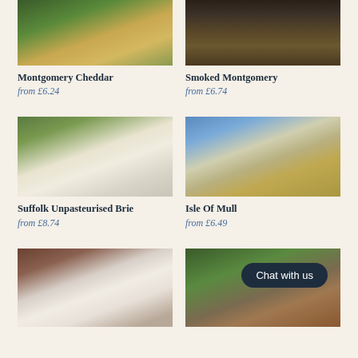[Figure (photo): Photo of Montgomery Cheddar cheese wedge on green leaves]
Montgomery Cheddar
from £6.24
[Figure (photo): Photo of Smoked Montgomery cheese on wooden board]
Smoked Montgomery
from £6.74
[Figure (photo): Photo of Suffolk Unpasteurised Brie cheese cut open on white stand]
Suffolk Unpasteurised Brie
from £8.74
[Figure (photo): Photo of Isle Of Mull cheese block against blue sky]
Isle Of Mull
from £6.49
[Figure (photo): Photo of small round cheese on white plate with crackers and chutney]
[Figure (photo): Photo of cheese with Chat with us button overlay]
Chat with us